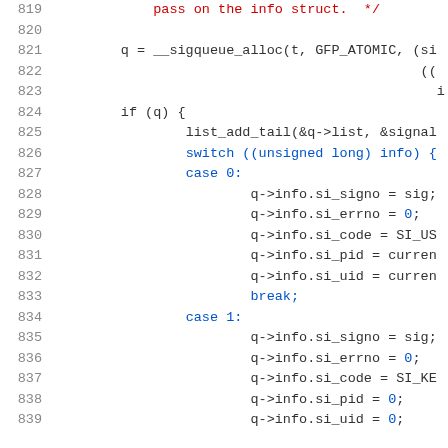Source code listing, lines 819-839, showing C kernel signal queue allocation code.